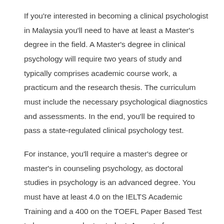If you're interested in becoming a clinical psychologist in Malaysia you'll need to have at least a Master's degree in the field. A Master's degree in clinical psychology will require two years of study and typically comprises academic course work, a practicum and the research thesis. The curriculum must include the necessary psychological diagnostics and assessments. In the end, you'll be required to pass a state-regulated clinical psychology test.
For instance, you'll require a master's degree or master's in counseling psychology, as doctoral studies in psychology is an advanced degree. You must have at least 4.0 on the IELTS Academic Training and a 400 on the TOEFL Paper Based Test to become a graduate student. As part of your master's program you'll learn about the main areas of psychology and counseling and work on a research project under close supervision.
There are several ways to become a clinical psychologist in Malaysia. You could pursue a postgraduate diploma in clinical